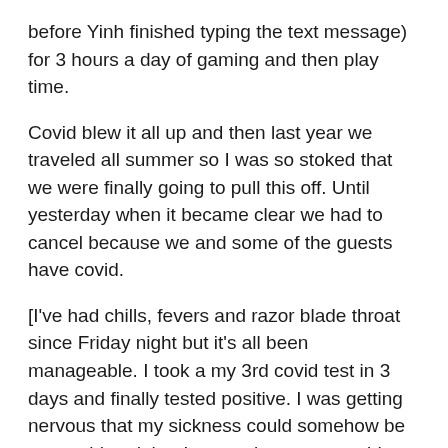before Yinh finished typing the text message) for 3 hours a day of gaming and then play time.
Covid blew it all up and then last year we traveled all summer so I was so stoked that we were finally going to pull this off. Until yesterday when it became clear we had to cancel because we and some of the guests have covid.
[I've had chills, fevers and razor blade throat since Friday night but it's all been manageable. I took a my 3rd covid test in 3 days and finally tested positive. I was getting nervous that my sickness could somehow be not covid and that I was going to get covid too.]